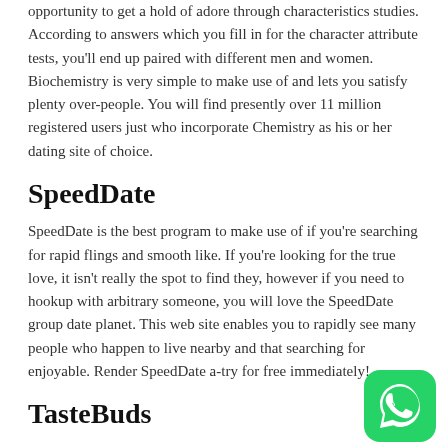opportunity to get a hold of adore through characteristics studies. According to answers which you fill in for the character attribute tests, you'll end up paired with different men and women. Biochemistry is very simple to make use of and lets you satisfy plenty over-people. You will find presently over 11 million registered users just who incorporate Chemistry as his or her dating site of choice.
SpeedDate
SpeedDate is the best program to make use of if you're searching for rapid flings and smooth like. If you're looking for the true love, it isn't really the spot to find they, however if you need to hookup with arbitrary someone, you will love the SpeedDate group date planet. This web site enables you to rapidly see many people who happen to live nearby and that searching for enjoyable. Render SpeedDate a-try for free immediately!
TasteBuds
[Figure (logo): WhatsApp logo icon — green rounded square with white phone/chat bubble symbol]